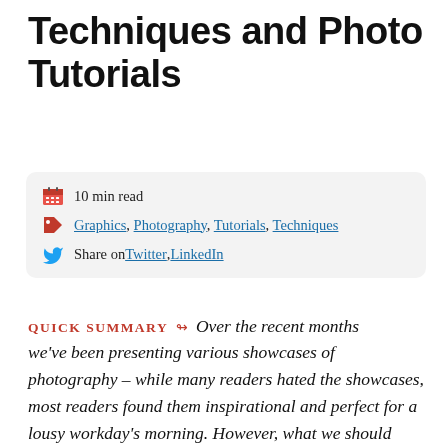Techniques and Photo Tutorials
10 min read
Graphics, Photography, Tutorials, Techniques
Share on Twitter, LinkedIn
QUICK SUMMARY ↬ Over the recent months we've been presenting various showcases of photography – while many readers hated the showcases, most readers found them inspirational and perfect for a lousy workday's morning. However, what we should have done in the inspirational posts is not just provide you with some